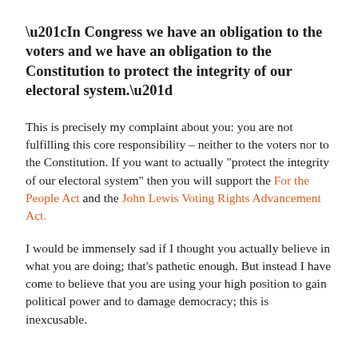“In Congress we have an obligation to the voters and we have an obligation to the Constitution to protect the integrity of our electoral system.”
This is precisely my complaint about you: you are not fulfilling this core responsibility – neither to the voters nor to the Constitution. If you want to actually “protect the integrity of our electoral system” then you will support the For the People Act and the John Lewis Voting Rights Advancement Act.
I would be immensely sad if I thought you actually believe in what you are doing; that’s pathetic enough. But instead I have come to believe that you are using your high position to gain political power and to damage democracy; this is inexcusable.